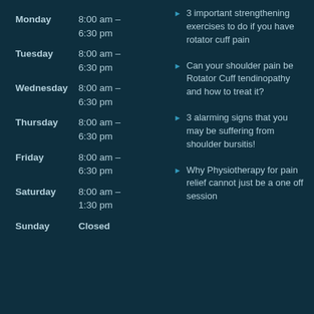Monday 8:00 am – 6:30 pm
Tuesday 8:00 am – 6:30 pm
Wednesday 8:00 am – 6:30 pm
Thursday 8:00 am – 6:30 pm
Friday 8:00 am – 6:30 pm
Saturday 8:00 am – 1:30 pm
Sunday Closed
3 important strengthening exercises to do if you have rotator cuff pain
Can your shoulder pain be Rotator Cuff tendinopathy and how to treat it?
3 alarming signs that you may be suffering from shoulder bursitis!
Why Physiotherapy for pain relief cannot just be a one off session